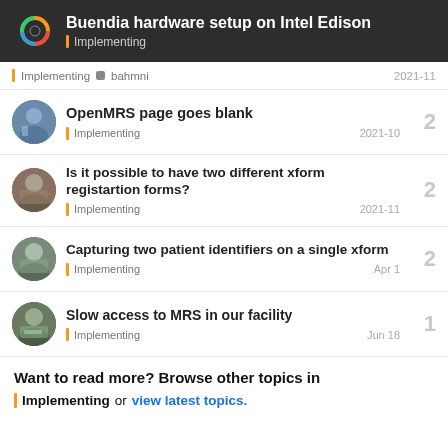Buendia hardware setup on Intel Edison — Implementing
Implementing · bahmni · 2021-11
OpenMRS page goes blank — Implementing · 2021-10 — 2 replies
Is it possible to have two different xform registartion forms? — Implementing · 2021-11 — 2 replies
Capturing two patient identifiers on a single xform — Implementing · Apr 1 — 2 replies
Slow access to MRS in our facility — Implementing · Jun 18 — 1 reply
Want to read more? Browse other topics in Implementing or view latest topics.